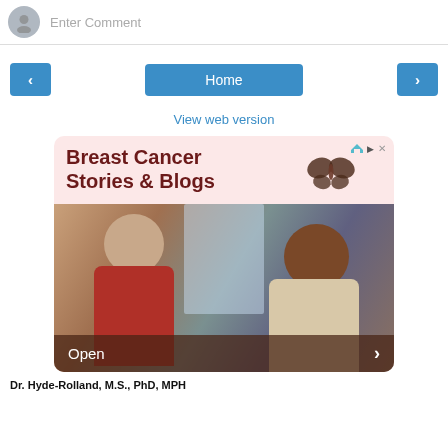Enter Comment
< Home >
View web version
[Figure (infographic): Advertisement for Breast Cancer Stories & Blogs with butterfly logo and photo of two women smiling, with an Open button and chevron]
Dr. Hyde-Rolland, M.S., PhD, MPH